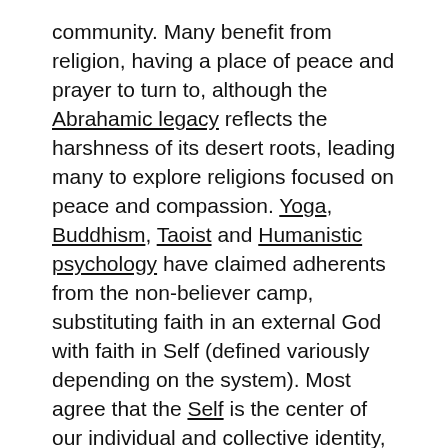community. Many benefit from religion, having a place of peace and prayer to turn to, although the Abrahamic legacy reflects the harshness of its desert roots, leading many to explore religions focused on peace and compassion. Yoga, Buddhism, Taoist and Humanistic psychology have claimed adherents from the non-believer camp, substituting faith in an external God with faith in Self (defined variously depending on the system). Most agree that the Self is the center of our individual and collective identity, the hub of being.
A recent NY Times editorial, Why the Antichrist Matters in Politics reminded me of the value of Erich Fromm's theories of rational and irrational faith.
“Irrational faith is the unshakable belief in a person, idea, institution or symbol, which does not result from one’s own experience or